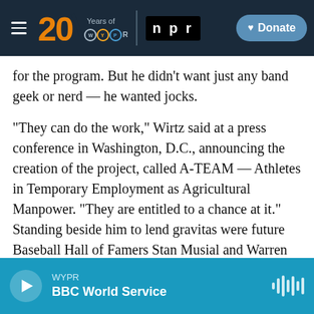WYPR 20 Years of WYPR | NPR | Donate
for the program. But he didn't want just any band geek or nerd — he wanted jocks.
"They can do the work," Wirtz said at a press conference in Washington, D.C., announcing the creation of the project, called A-TEAM — Athletes in Temporary Employment as Agricultural Manpower. "They are entitled to a chance at it." Standing beside him to lend gravitas were future Baseball Hall of Famers Stan Musial and Warren Spahn and future Pro Football Hall of Famer Jim Brown.
Over the ensuing weeks, the Department of Labor,
WYPR | BBC World Service